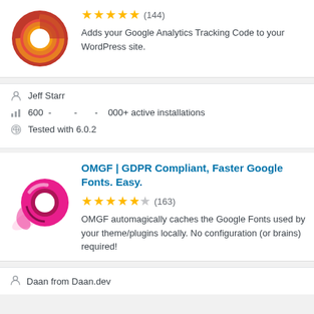[Figure (logo): Google Analytics plugin logo - circular swirl with red, orange, yellow gradient]
★★★★★ (144)
Adds your Google Analytics Tracking Code to your WordPress site.
Jeff Starr
600 - - - 000+ active installations
Tested with 6.0.2
[Figure (logo): OMGF plugin logo - magenta/pink circular ring shape]
OMGF | GDPR Compliant, Faster Google Fonts. Easy.
★★★★½ (163)
OMGF automagically caches the Google Fonts used by your theme/plugins locally. No configuration (or brains) required!
Daan from Daan.dev